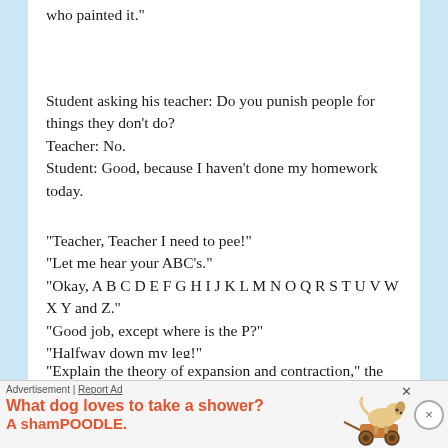who painted it."
Student asking his teacher: Do you punish people for things they don't do? Teacher: No. Student: Good, because I haven't done my homework today.
"Teacher, Teacher I need to pee!" "Let me hear your ABC's." "Okay, A B C D E F G H I J K L M N O Q R S T U V W X Y and Z." "Good job, except where is the P?" "Halfway down my leg!"
"Explain the theory of expansion and contraction," the teacher asked one of the pupils. "A substance expands when it is heated
Advertisement | Report Ad  What dog loves to take a shower? A shamPOODLE.